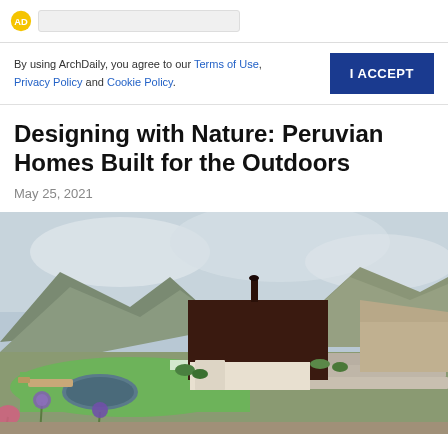ArchDaily [logo + search bar]
By using ArchDaily, you agree to our Terms of Use, Privacy Policy and Cookie Policy.
Designing with Nature: Peruvian Homes Built for the Outdoors
May 25, 2021
[Figure (photo): Exterior view of a Peruvian home with a dark rust-colored rectangular structure, terraced stone steps, manicured green lawn with a circular pond, purple agapanthus flowers in the foreground, and mountains under an overcast sky in the background.]